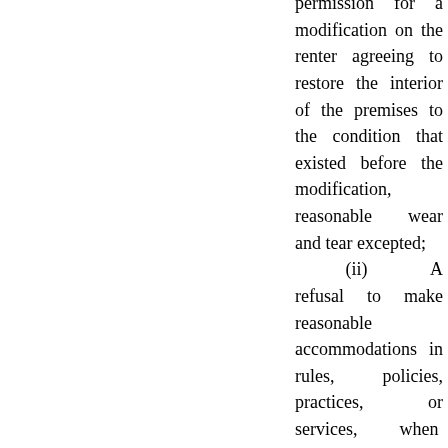permission for a modification on the renter agreeing to restore the interior of the premises to the condition that existed before the modification, reasonable wear and tear excepted; (ii) A refusal to make reasonable accommodations in rules, policies, practices, or services, when such accommodations may be necessary to afford such person equal opportunity to use and enjoy a dwelling; or (iii) I